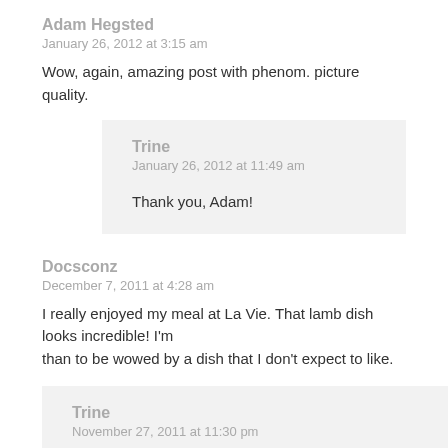Adam Hegsted
January 26, 2012 at 3:15 am
Wow, again, amazing post with phenom. picture quality.
Trine
January 26, 2012 at 11:49 am
Thank you, Adam!
Docsconz
December 7, 2011 at 4:28 am
I really enjoyed my meal at La Vie. That lamb dish looks incredible! I'm than to be wowed by a dish that I don't expect to like.
Trine
November 27, 2011 at 11:30 pm
Thank you so much!